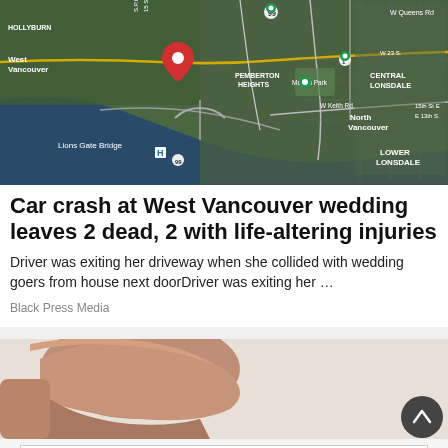[Figure (map): Aerial/satellite map showing West Vancouver area, including Lions Gate Bridge, North Vancouver, Hollyburn, Pemberton Heights, Mahon Park, Central Lonsdale, Lower Lonsdale, with a red location pin marker.]
Car crash at West Vancouver wedding leaves 2 dead, 2 with life-altering injuries
Driver was exiting her driveway when she collided with wedding goers from house next doorDriver was exiting her …
Black Press Media
[Figure (photo): A brown leather recliner chair on a grey/white background]
[Figure (logo): Salmon Arm Fair logo with carnival tent and ferris wheel illustration]
SALMON ARM FAIR AND PARADE September 9 - 11, 2022